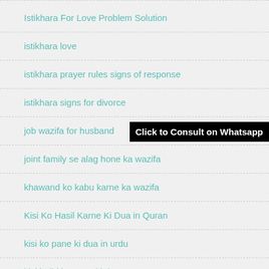Istikhara For Love Problem Solution
istikhara love
istikhara prayer rules signs of response
istikhara signs for divorce
job wazifa for husband
joint family se alag hone ka wazifa
khawand ko kabu karne ka wazifa
Kisi Ko Hasil Karne Ki Dua in Quran
kisi ko pane ki dua in urdu
kisi ladhi ko pane ki dua